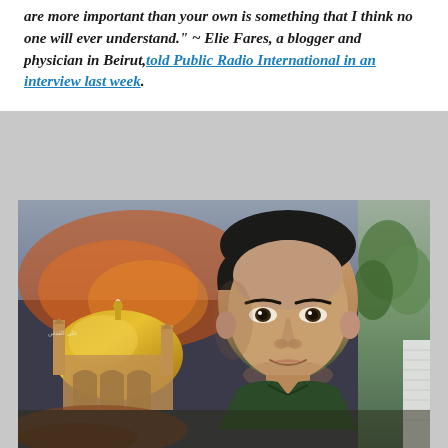are more important than your own is something that I think no one will ever understand." ~ Elie Fares, a blogger and physician in Beirut, told Public Radio International in an interview last week.
[Figure (photo): A memorial poster showing a young man's portrait overlaid on an image of a golden mosque dome, with outdoor greenery visible in the background.]